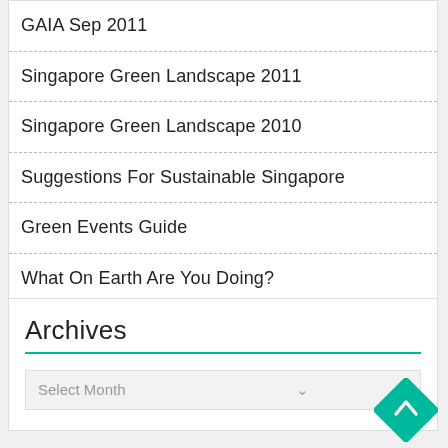GAIA Sep 2011
Singapore Green Landscape 2011
Singapore Green Landscape 2010
Suggestions For Sustainable Singapore
Green Events Guide
What On Earth Are You Doing?
Archives
Select Month